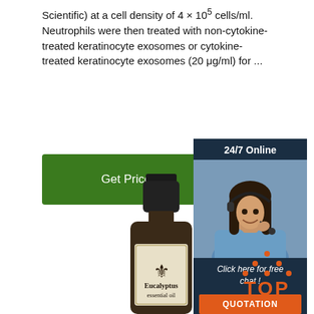Scientific) at a cell density of 4 × 10 5 cells/ml. Neutrophils were then treated with non-cytokine-treated keratinocyte exosomes or cytokine-treated keratinocyte exosomes (20 μg/ml) for ...
[Figure (illustration): Green 'Get Price' button]
[Figure (photo): Advertisement banner showing a woman with headset, '24/7 Online', 'Click here for free chat!', and 'QUOTATION' button in orange]
[Figure (photo): Eucalyptus essential oil dark glass bottle with cream label showing fleur-de-lis symbol and text 'Eucalyptus essential oil']
[Figure (logo): Orange 'TOP' logo with dot-triangle above letters at bottom right of page]